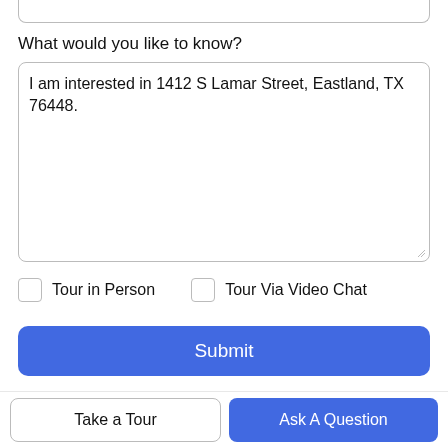What would you like to know?
I am interested in 1412 S Lamar Street, Eastland, TX 76448.
Tour in Person
Tour Via Video Chat
Submit
Disclaimer: By entering your information and submitting this form, you agree to our Terms of Use and Privacy Policy and that you may be contacted by phone, text message and email about your inquiry.
Take a Tour
Ask A Question